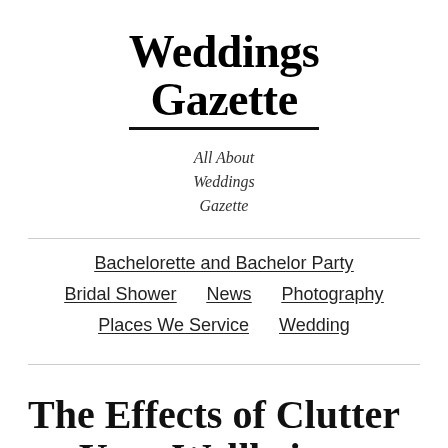Weddings Gazette
All About Weddings Gazette
Bachelorette and Bachelor Party
Bridal Shower
News
Photography
Places We Service
Wedding
The Effects of Clutter on Your Wellbeing